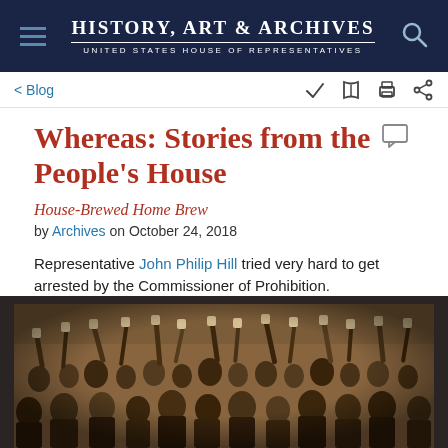History, Art & Archives — United States House of Representatives
< Blog
Whereas: Stories from the People's House
House-Brewed Home Brew
by Archives on October 24, 2018
Representative John Philip Hill tried very hard to get arrested by the Commissioner of Prohibition.
[Figure (photo): Black and white / sepia photograph of a large crowd of people raising glasses or cups, appearing to celebrate, likely from the Prohibition era.]